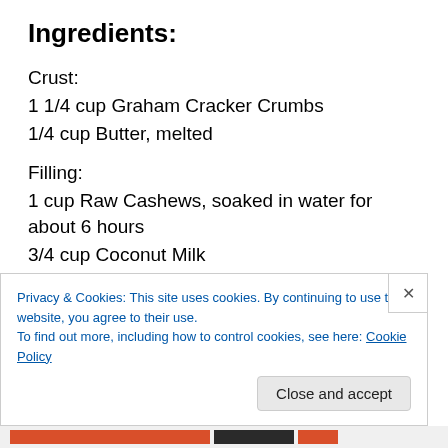Ingredients:
Crust:
1 1/4 cup Graham Cracker Crumbs
1/4 cup Butter, melted
Filling:
1 cup Raw Cashews, soaked in water for about 6 hours
3/4 cup Coconut Milk
1/4 cup Coconut Oil, melted
Privacy & Cookies: This site uses cookies. By continuing to use this website, you agree to their use.
To find out more, including how to control cookies, see here: Cookie Policy
Close and accept